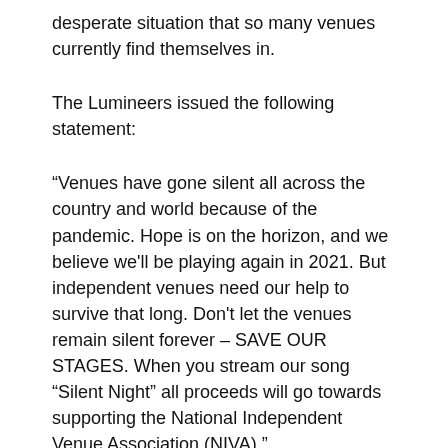desperate situation that so many venues currently find themselves in.
The Lumineers issued the following statement:
“Venues have gone silent all across the country and world because of the pandemic. Hope is on the horizon, and we believe we'll be playing again in 2021. But independent venues need our help to survive that long. Don’t let the venues remain silent forever – SAVE OUR STAGES. When you stream our song “Silent Night” all proceeds will go towards supporting the National Independent Venue Association (NIVA).”
About The National Independent Venue Association (NIVA): NIVA’s Emergency Relief Fund is raising money for grants in hopes of enabling some of the most distressed independent venues to hold on until Congress passes the Save Our Stages Act. The